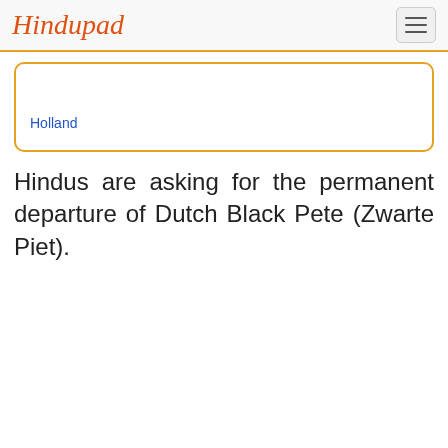Hindupad
Holland
Hindus are asking for the permanent departure of Dutch Black Pete (Zwarte Piet).